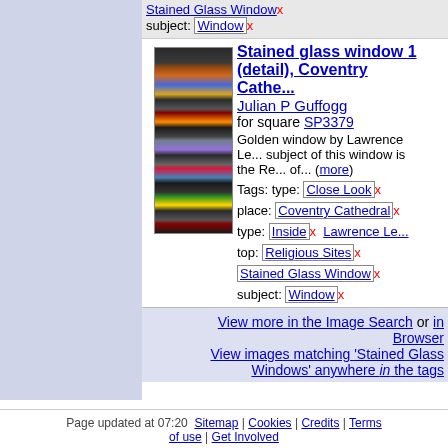Stained Glass Window x
subject: Window x
[Figure (photo): Thumbnail photo of a stained glass window showing colorful panels arranged in a grid pattern]
Stained glass window 1 (detail), Coventry Cathedral
Julian P Guffogg
for square SP3379
Golden window by Lawrence Le... subject of this window is the Re... of... (more)
Tags: type: Close Look x
place: Coventry Cathedral x
type: Inside x  Lawrence Le...
top: Religious Sites x
Stained Glass Window x
subject: Window x
View more in the Image Search or in Browser
View images matching 'Stained Glass Windows' anywhere in the tags
Page updated at 07:20  Sitemap | Cookies | Credits | Terms of use | Get Involved